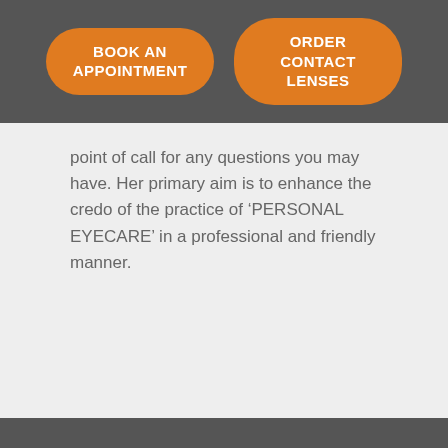[Figure (other): Two orange rounded rectangle buttons: 'BOOK AN APPOINTMENT' and 'ORDER CONTACT LENSES' on a dark grey header bar]
point of call for any questions you may have. Her primary aim is to enhance the credo of the practice of ‘PERSONAL EYECARE’ in a professional and friendly manner.